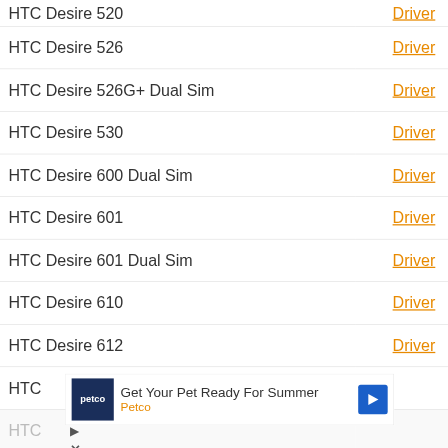| Device | Download |
| --- | --- |
| HTC Desire 520 | Driver |
| HTC Desire 526 | Driver |
| HTC Desire 526G+ Dual Sim | Driver |
| HTC Desire 530 | Driver |
| HTC Desire 600 Dual Sim | Driver |
| HTC Desire 601 | Driver |
| HTC Desire 601 Dual Sim | Driver |
| HTC Desire 610 | Driver |
| HTC Desire 612 | Driver |
| HTC... |  |
| HTC... |  |
| HTC... |  |
[Figure (infographic): Advertisement banner for Petco: 'Get Your Pet Ready For Summer' with Petco logo and navigation arrow icon]